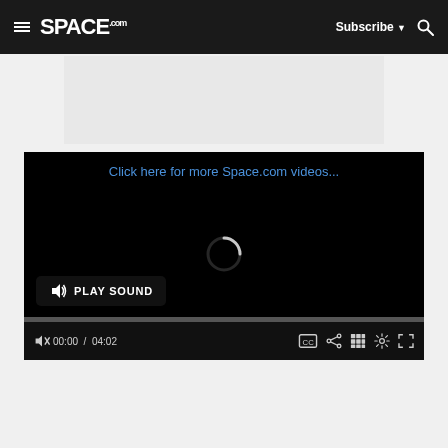SPACE.com — Subscribe — Search
[Figure (screenshot): Video player showing 'Click here for more Space.com videos...' link, a loading spinner, PLAY SOUND button, progress bar at 00:00/04:02, and playback controls (volume mute, CC, share, grid, settings, fullscreen)]
Click here for more Space.com videos...
PLAY SOUND
00:00  /  04:02